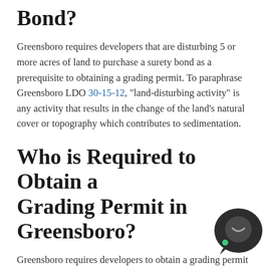Bond?
Greensboro requires developers that are disturbing 5 or more acres of land to purchase a surety bond as a prerequisite to obtaining a grading permit. To paraphrase Greensboro LDO 30-15-12, “land-disturbing activity” is any activity that results in the change of the land’s natural cover or topography which contributes to sedimentation.
Who is Required to Obtain a Grading Permit in Greensboro?
Greensboro requires developers to obtain a grading permit if the proposed land-disturbing activity meets any of the following criteria:
[Figure (other): Chat widget icon — dark rounded speech bubble with a smiley face and green dot]